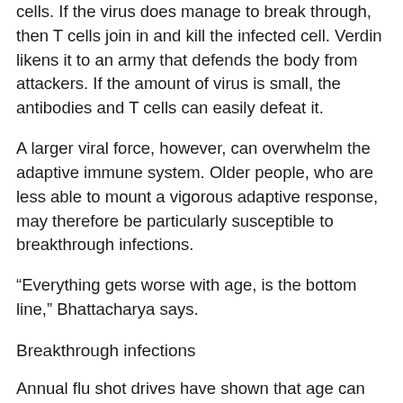cells. If the virus does manage to break through, then T cells join in and kill the infected cell. Verdin likens it to an army that defends the body from attackers. If the amount of virus is small, the antibodies and T cells can easily defeat it.
A larger viral force, however, can overwhelm the adaptive immune system. Older people, who are less able to mount a vigorous adaptive response, may therefore be particularly susceptible to breakthrough infections.
“Everything gets worse with age, is the bottom line,” Bhattacharya says.
Breakthrough infections
Annual flu shot drives have shown that age can dampen the effectiveness of some vaccines. Verdin says a third of people over age 70 don’t respond at all to the flu vaccine, which is why it still kills a disproportionate number of older Americans every year.
On the other hand, responses to COVID-19 vaccines have